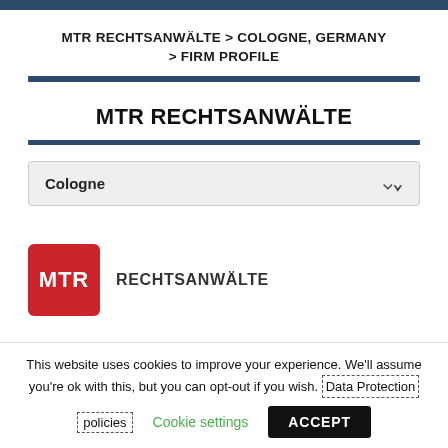MTR RECHTSANWÄLTE > COLOGNE, GERMANY > FIRM PROFILE
MTR RECHTSANWÄLTE
Cologne
[Figure (logo): MTR Rechtsanwälte logo — red square with white MTR text, followed by RECHTSANWÄLTE in grey]
This website uses cookies to improve your experience. We'll assume you're ok with this, but you can opt-out if you wish. Data Protection policies Cookie settings ACCEPT